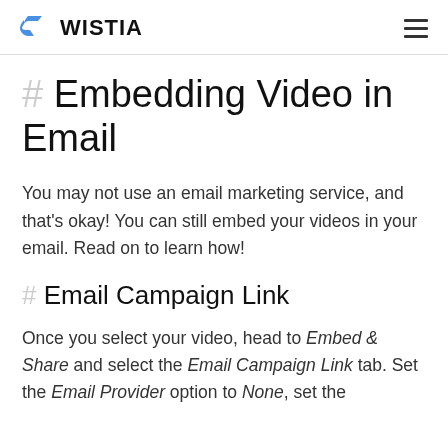WISTIA
# Embedding Video in Email
You may not use an email marketing service, and that's okay! You can still embed your videos in your email. Read on to learn how!
# Email Campaign Link
Once you select your video, head to Embed & Share and select the Email Campaign Link tab. Set the Email Provider option to None, set the